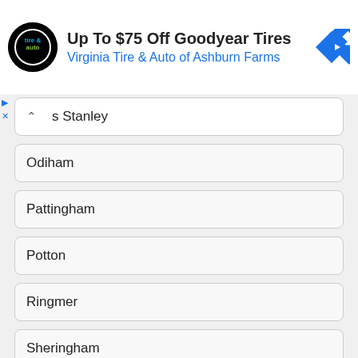[Figure (screenshot): Advertisement banner for Virginia Tire & Auto of Ashburn Farms showing Up To $75 Off Goodyear Tires]
s Stanley
Odiham
Pattingham
Potton
Ringmer
Sheringham
Stanford-le-Hope